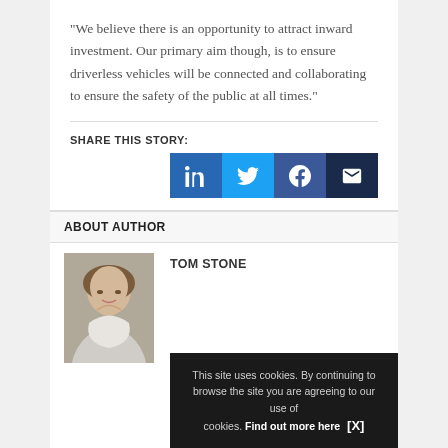“We believe there is an opportunity to attract inward investment. Our primary aim though, is to ensure driverless vehicles will be connected and collaborating to ensure the safety of the public at all times.”
SHARE THIS STORY:
[Figure (infographic): Row of four social media share buttons: LinkedIn (blue), Twitter (light blue), Facebook (dark blue), Email (dark navy)]
ABOUT AUTHOR
[Figure (photo): Headshot photo of Tom Stone, a young man smiling]
TOM STONE
This site uses cookies. By continuing to browse the site you are agreeing to our use of cookies. Find out more here [X]